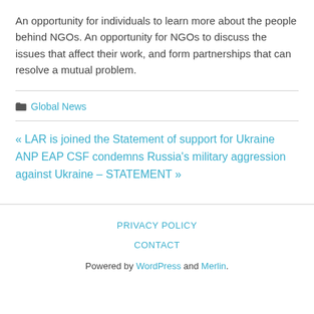An opportunity for individuals to learn more about the people behind NGOs. An opportunity for NGOs to discuss the issues that affect their work, and form partnerships that can resolve a mutual problem.
🗀 Global News
« LAR is joined the Statement of support for Ukraine
ANP EAP CSF condemns Russia's military aggression against Ukraine – STATEMENT »
PRIVACY POLICY
CONTACT
Powered by WordPress and Merlin.